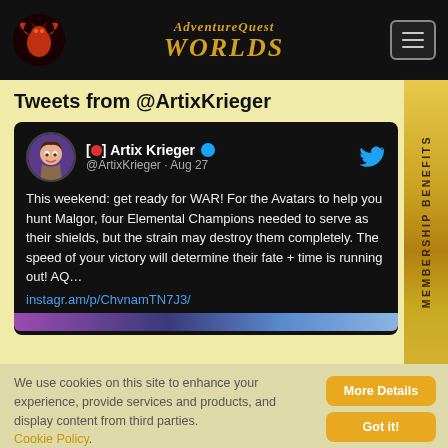AdventureQuest Worlds
Tweets from @ArtixKrieger
[🔴] Artix Krieger @ArtixKrieger · Aug 27
This weekend: get ready for WAR! For the Avatars to help you hunt Malgor, four Elemental Champions needed to serve as their shields, but the strain may destroy them completely. The speed of your victory will determine their fate + time is running out! AQ…
instagr.am/p/ChvnamTN7J3/
MEMBERSHIP BENEFITS
We use cookies on this site to enhance your experience, provide services and products, and display content from third parties. Cookie Policy.